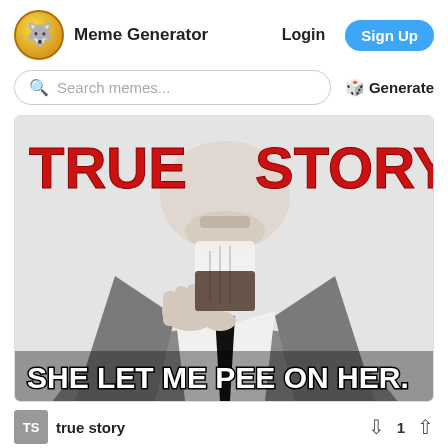Meme Generator  Login  Sign Up
Search memes...  ✦ Generate
[Figure (illustration): True Story meme image: black and white line-art illustration of a man in a suit holding a glass of dark liquid close to his mouth. Bold red text reads TRUE on the left and STORY on the right at the top. White text with black outline at the bottom reads: SHE LET ME PEE ON HER.]
true story  1